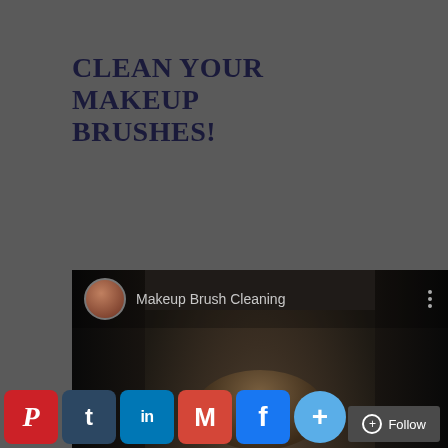CLEAN YOUR MAKEUP BRUSHES!
[Figure (screenshot): YouTube video embed showing 'Makeup Brush Cleaning' with a person in sunglasses and black t-shirt holding cleaning equipment, with a red play button overlay in the center. Channel avatar shown in top left.]
[Figure (infographic): Social sharing icon bar at the bottom with Pinterest (red P), Tumblr (blue t), LinkedIn (blue in), Gmail (red M), Facebook (blue f), and a blue plus icon for more options. A dark Follow button appears in the bottom right corner.]